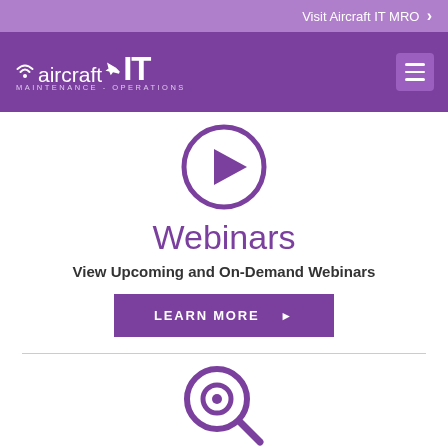Visit Aircraft IT MRO ›
[Figure (logo): Aircraft IT Maintenance - Operations logo with wifi signal and airplane icons, white text on purple background, with hamburger menu icon]
[Figure (illustration): Purple circular play button icon]
Webinars
View Upcoming and On-Demand Webinars
LEARN MORE ▶
[Figure (illustration): Purple magnifying glass icon with a circular search symbol]